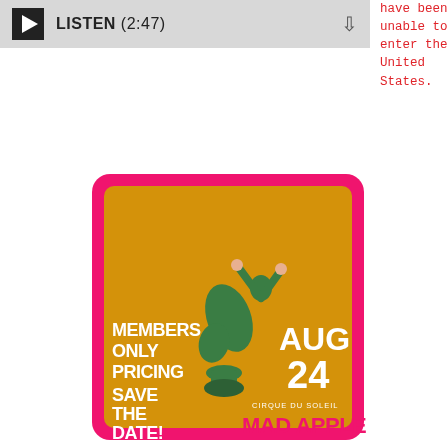[Figure (other): Audio player bar with play button, LISTEN (2:47) text, and download icon on grey background]
have been unable to enter the United States.
[Figure (other): Cirque du Soleil Mad Apple promotional ticket graphic. Hot pink ticket shape with orange/gold inner area. Text reads: MEMBERS ONLY PRICING, SAVE THE DATE!, AUG 24, CIRQUE DU SOLEIL, MAD APPLE. Features an acrobat figure illustration.]